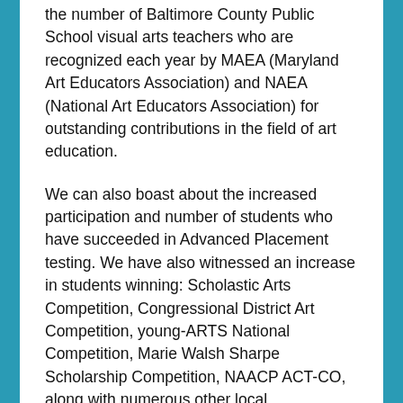the number of Baltimore County Public School visual arts teachers who are recognized each year by MAEA (Maryland Art Educators Association) and NAEA (National Art Educators Association) for outstanding contributions in the field of art education.
We can also boast about the increased participation and number of students who have succeeded in Advanced Placement testing. We have also witnessed an increase in students winning: Scholastic Arts Competition, Congressional District Art Competition, young-ARTS National Competition, Marie Walsh Sharpe Scholarship Competition, NAACP ACT-CO, along with numerous other local competitions.
The Summer Art Enrichment Camp returned to Cockeysville Middle School after three years at different schools while the middle school was renovated, then moved to Perry Hall High School, where is remains today. The program continues to be strong, offering students and teachers an intense two weeks of art-making and portfolio